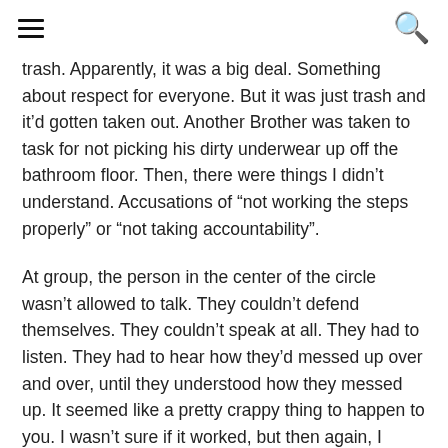[hamburger menu icon] [search icon]
trash. Apparently, it was a big deal. Something about respect for everyone. But it was just trash and it'd gotten taken out. Another Brother was taken to task for not picking his dirty underwear up off the bathroom floor. Then, there were things I didn't understand. Accusations of "not working the steps properly" or "not taking accountability".
At group, the person in the center of the circle wasn't allowed to talk. They couldn't defend themselves. They couldn't speak at all. They had to listen. They had to hear how they'd messed up over and over, until they understood how they messed up. It seemed like a pretty crappy thing to happen to you. I wasn't sure if it worked, but then again, I couldn't go to group. Not that I wanted to in the first place, it didn't seem like a fun place to be.